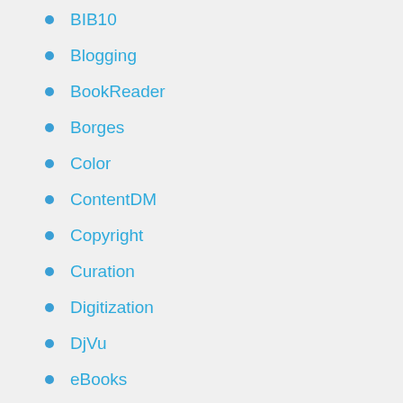BIB10
Blogging
BookReader
Borges
Color
ContentDM
Copyright
Curation
Digitization
DjVu
eBooks
Elegance
Facebook
Flickr
Flipboard
Flu
GBS Case Study
Google
Google Book Search
Google eBookstore
Google Flu Trends
Google Plus
Greenstone